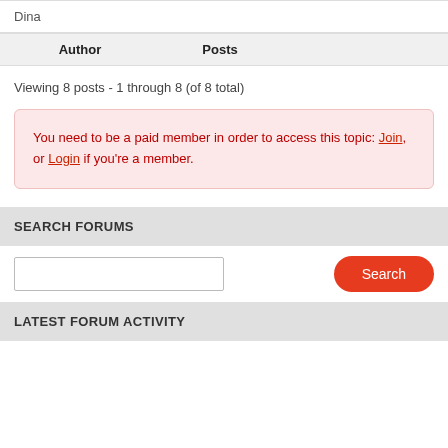Dina
| Author | Posts |
| --- | --- |
Viewing 8 posts - 1 through 8 (of 8 total)
You need to be a paid member in order to access this topic: Join, or Login if you're a member.
SEARCH FORUMS
LATEST FORUM ACTIVITY